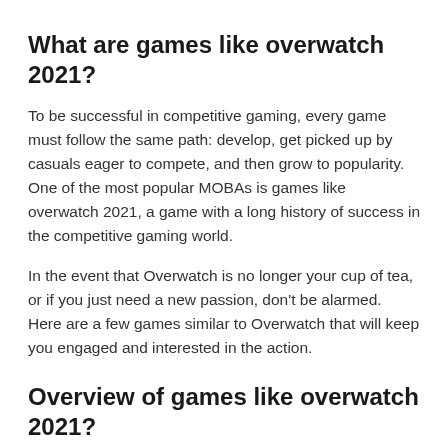What are games like overwatch 2021?
To be successful in competitive gaming, every game must follow the same path: develop, get picked up by casuals eager to compete, and then grow to popularity. One of the most popular MOBAs is games like overwatch 2021, a game with a long history of success in the competitive gaming world.
In the event that Overwatch is no longer your cup of tea, or if you just need a new passion, don't be alarmed.
Here are a few games similar to Overwatch that will keep you engaged and interested in the action.
Overview of games like overwatch 2021?